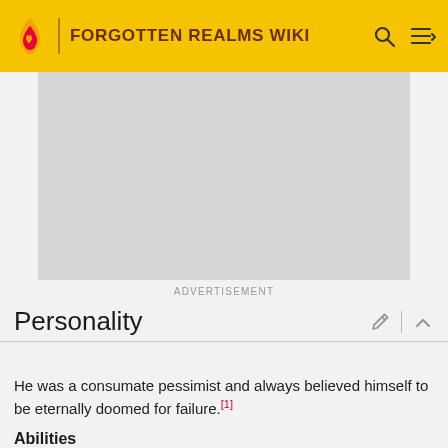FORGOTTEN REALMS WIKI
[Figure (other): Advertisement placeholder — grey rectangle]
ADVERTISEMENT
Personality
He was a consumate pessimist and always believed himself to be eternally doomed for failure.[1]
Abilities
Due to his preferred school of magic, Xan's enchantment spells were more potent. As a result however, he was